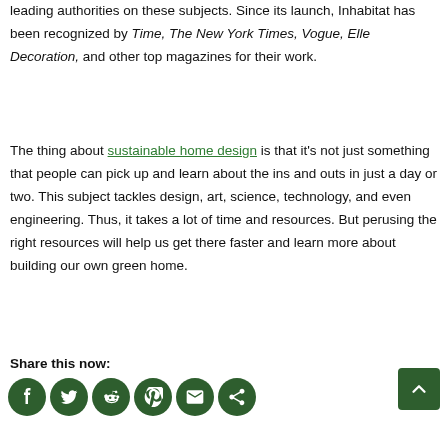leading authorities on these subjects. Since its launch, Inhabitat has been recognized by Time, The New York Times, Vogue, Elle Decoration, and other top magazines for their work.
The thing about sustainable home design is that it's not just something that people can pick up and learn about the ins and outs in just a day or two. This subject tackles design, art, science, technology, and even engineering. Thus, it takes a lot of time and resources. But perusing the right resources will help us get there faster and learn more about building our own green home.
Share this now:
[Figure (infographic): Row of six dark green circular social media share icons: Facebook, Twitter, Reddit, Pinterest, Email, Share. A dark green back-to-top button with upward chevron is at the right.]